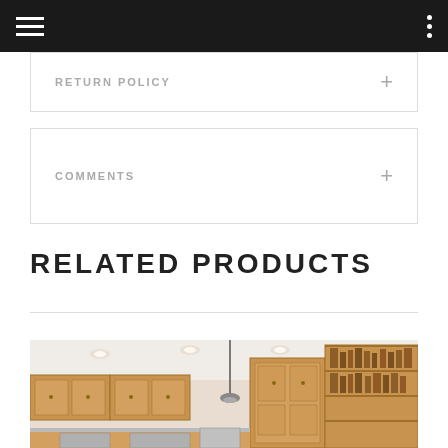Navigation header with hamburger menu and options dots
RETURN POLICY
COMMENTS
RELATED PRODUCTS
[Figure (photo): Kitchen interior photo showing wood cabinets, recessed ceiling lights, and stainless steel appliances]